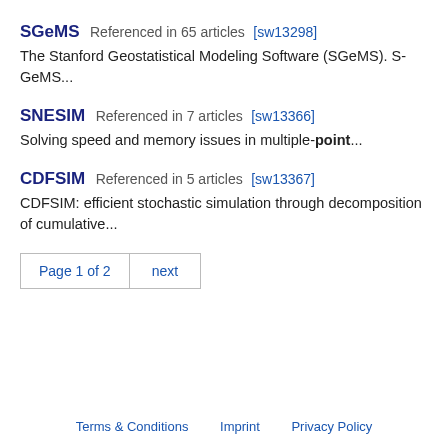SGeMS  Referenced in 65 articles [sw13298]
The Stanford Geostatistical Modeling Software (SGeMS). S-GeMS...
SNESIM  Referenced in 7 articles [sw13366]
Solving speed and memory issues in multiple-point...
CDFSIM  Referenced in 5 articles [sw13367]
CDFSIM: efficient stochastic simulation through decomposition of cumulative...
Page 1 of 2  next
Terms & Conditions    Imprint    Privacy Policy